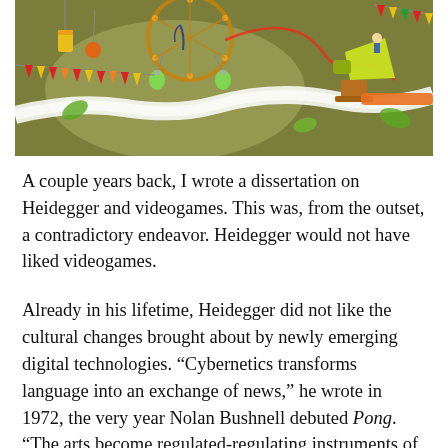[Figure (illustration): Colorful illustrated scene with whimsical Rube Goldberg-like contraptions: a large ferris wheel structure with hanging flasks, a yellow megaphone/horn on a pedestal with a small figure, red and orange wiring, colorful triangular bunting flags, green leaves, and a winding white ribbon-like path on an olive-green background.]
A couple years back, I wrote a dissertation on Heidegger and videogames. This was, from the outset, a contradictory endeavor. Heidegger would not have liked videogames.
Already in his lifetime, Heidegger did not like the cultural changes brought about by newly emerging digital technologies. “Cybernetics transforms language into an exchange of news,” he wrote in 1972, the very year Nolan Bushnell debuted Pong. “The arts become regulated-regulating instruments of information.”[i]